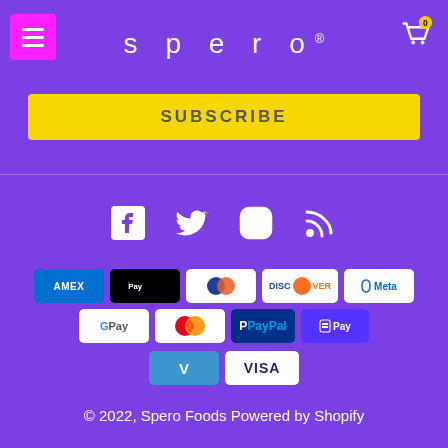[Figure (logo): Spero brand logo with hamburger menu icon on pink/magenta background, cart icon with 0 badge, white letter-spaced 'spero®' text on purple background]
[Figure (other): Yellow SUBSCRIBE button]
[Figure (other): Social media icons row: Facebook, Twitter, Instagram, RSS feed — all white on purple background]
[Figure (other): Payment method badges: American Express, Apple Pay, Diners Club, Discover, Meta Pay, Google Pay, Mastercard, PayPal, Shop Pay, Venmo, Visa]
© 2022, Spero Foods Powered by Shopify